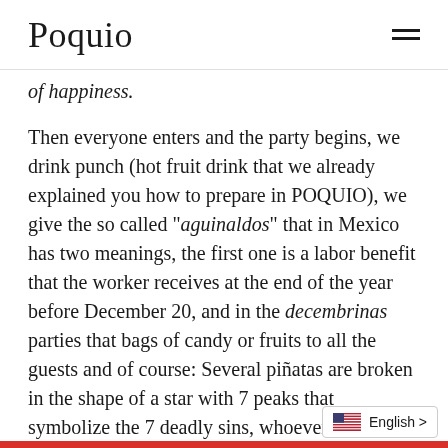Poquio
of happiness.
Then everyone enters and the party begins, we drink punch (hot fruit drink that we already explained you how to prepare in POQUIO), we give the so called "aguinaldos" that in Mexico has two meanings, the first one is a labor benefit that the worker receives at the end of the year before December 20, and in the decembrinas parties that bags of candy or fruits to all the guests and of course: Several piñatas are broken in the shape of a star with 7 peaks that symbolize the 7 deadly sins, whoever hits it must be blindfolded symbolizing that faith is blind and this guide of virtue, when breaking it, sweets a